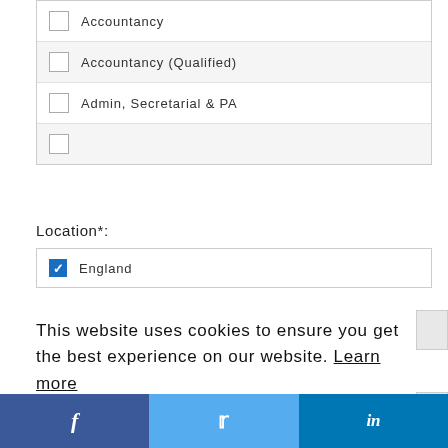Accountancy
Accountancy (Qualified)
Admin, Secretarial & PA
Location*:
England (checked)
This website uses cookies to ensure you get the best experience on our website. Learn more
Got it!